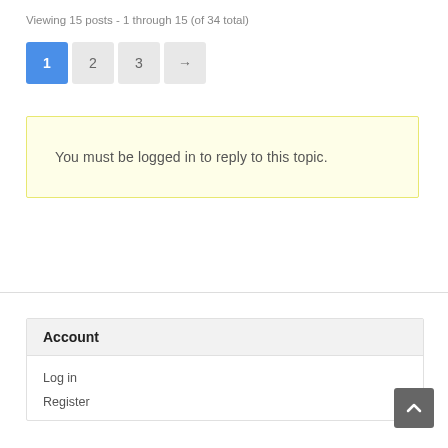Viewing 15 posts - 1 through 15 (of 34 total)
1  2  3  →
You must be logged in to reply to this topic.
Account
Log in
Register